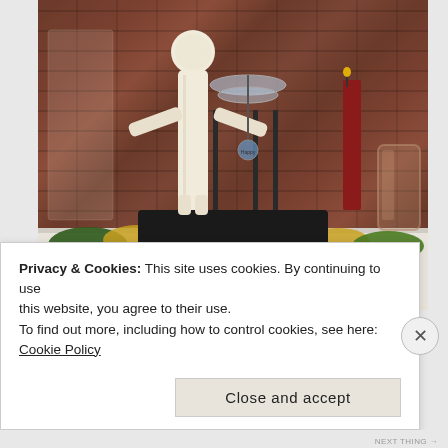[Figure (photo): A decorative Halloween or autumn figure (scarecrow-like) on a black rectangular stand, placed on a white fireplace mantle. Autumn leaves garland surrounds the base. A red candle and glass vase are visible to the right. The background shows a red brick wall. A silver dragonfly ornament hangs from the figure. The setting appears to be a home interior styled for fall/Halloween.]
Privacy & Cookies: This site uses cookies. By continuing to use this website, you agree to their use.
To find out more, including how to control cookies, see here:
Cookie Policy
Close and accept